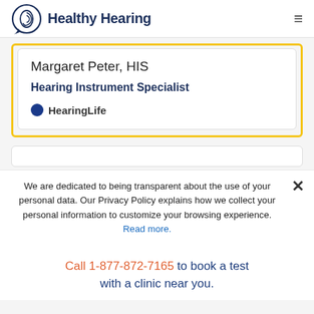Healthy Hearing
Margaret Peter, HIS
Hearing Instrument Specialist
[Figure (logo): HearingLife brand logo with blue circle dot]
We are dedicated to being transparent about the use of your personal data. Our Privacy Policy explains how we collect your personal information to customize your browsing experience. Read more.
Call 1-877-872-7165 to book a test with a clinic near you.